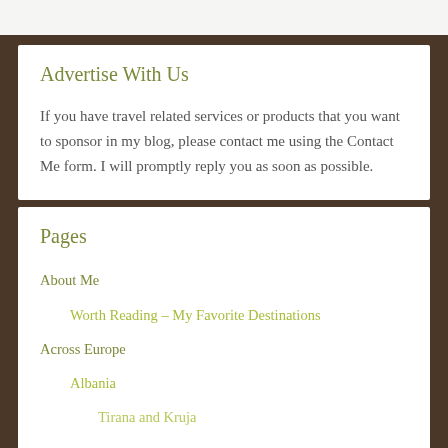Advertise With Us
If you have travel related services or products that you want to sponsor in my blog, please contact me using the Contact Me form. I will promptly reply you as soon as possible.
Pages
About Me
Worth Reading – My Favorite Destinations
Across Europe
Albania
Tirana and Kruja